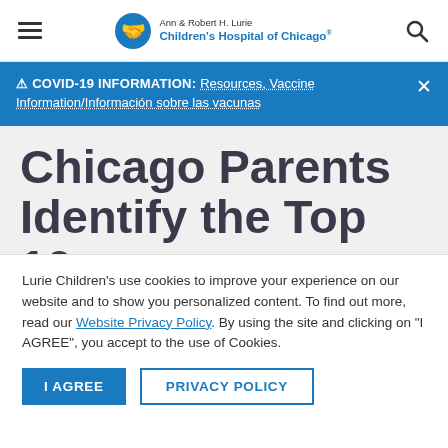Ann & Robert H. Lurie Children's Hospital of Chicago
⚠ COVID-19 INFORMATION: Resources, Vaccine Information/Información sobre las vacunas
Chicago Parents Identify the Top 10 Social Issues
Lurie Children's use cookies to improve your experience on our website and to show you personalized content. To find out more, read our Website Privacy Policy. By using the site and clicking on "I AGREE", you accept to the use of Cookies.
I AGREE | PRIVACY POLICY